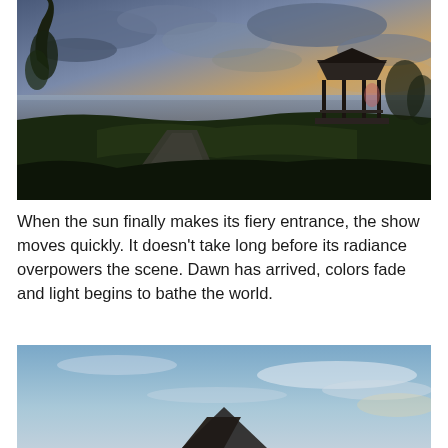[Figure (photo): Outdoor dusk/dawn scene showing a paved path leading toward a waterfront gazebo/pavilion on the right, with dark silhouetted trees and grass in the foreground and a dramatic cloudy sky with hints of orange and blue over a large body of water in the background.]
When the sun finally makes its fiery entrance, the show moves quickly. It doesn't take long before its radiance overpowers the scene. Dawn has arrived, colors fade and light begins to bathe the world.
[Figure (photo): Outdoor daytime scene with a bright blue sky and wispy clouds, showing the top of a pavilion or gazebo structure in the lower center against the sky.]